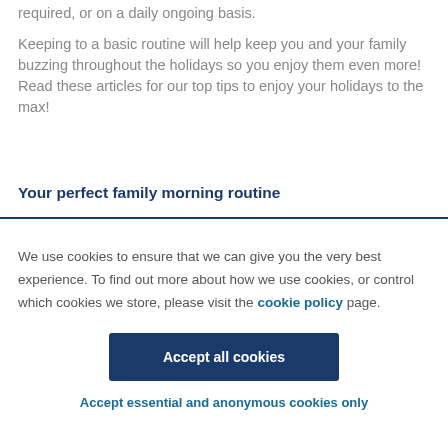required, or on a daily ongoing basis.
Keeping to a basic routine will help keep you and your family buzzing throughout the holidays so you enjoy them even more! Read these articles for our top tips to enjoy your holidays to the max!
Your perfect family morning routine
We use cookies to ensure that we can give you the very best experience. To find out more about how we use cookies, or control which cookies we store, please visit the cookie policy page.
Accept all cookies
Accept essential and anonymous cookies only